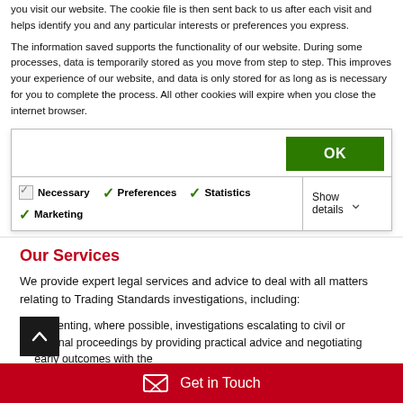you visit our website. The cookie file is then sent back to us after each visit and helps identify you and any particular interests or preferences you express.
The information saved supports the functionality of our website. During some processes, data is temporarily stored as you move from step to step. This improves your experience of our website, and data is only stored for as long as is necessary for you to complete the process. All other cookies will expire when you close the internet browser.
[Figure (screenshot): Cookie consent modal with OK button and checkboxes for Necessary, Preferences, Statistics, Marketing with Show details dropdown]
Our Services
We provide expert legal services and advice to deal with all matters relating to Trading Standards investigations, including:
Preventing, where possible, investigations escalating to civil or criminal proceedings by providing practical advice and negotiating early outcomes with the
Get in Touch